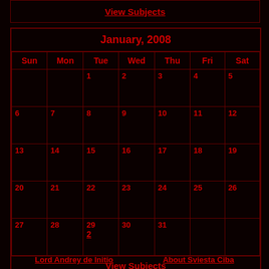| View Subjects |
| Sun | Mon | Tue | Wed | Thu | Fri | Sat |
| --- | --- | --- | --- | --- | --- | --- |
|  |  | 1 | 2 | 3 | 4 | 5 |
| 6 | 7 | 8 | 9 | 10 | 11 | 12 |
| 13 | 14 | 15 | 16 | 17 | 18 | 19 |
| 20 | 21 | 22 | 23 | 24 | 25 | 26 |
| 27 | 28 | 29
2 | 30 | 31 |  |  |
View Subjects
Lord Andrey de Initio
About Sviesta Ciba